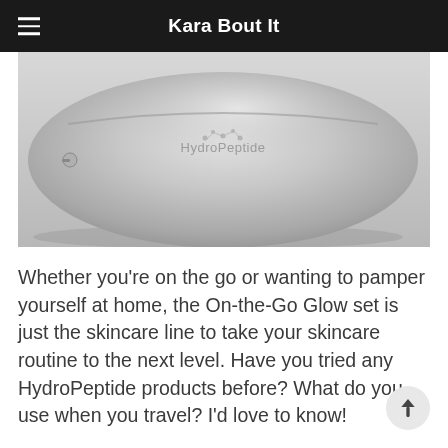Kara Bout It
[Figure (photo): Close-up of a silver metallic cosmetic bag with embossed HydroPeptide logo on the surface]
Whether you’re on the go or wanting to pamper yourself at home, the On-the-Go Glow set is just the skincare line to take your skincare routine to the next level. Have you tried any HydroPeptide products before? What do you use when you travel? I’d love to know!